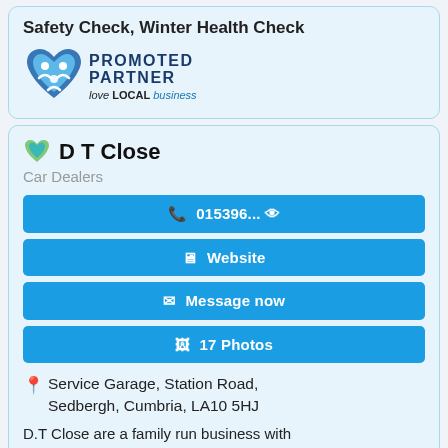Safety Check, Winter Health Check
[Figure (logo): Promoted Partner - love LOCAL business logo with heart/people icon]
D T Close
Car Dealers
015396... (phone button)
Website
Message now
17 Photos
Service Garage, Station Road, Sedbergh, Cumbria, LA10 5HJ
D.T Close are a family run business with 50...